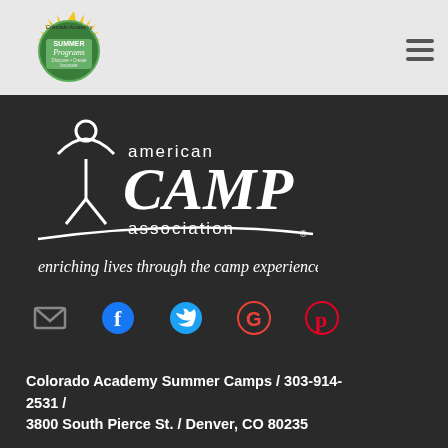[Figure (logo): Colorado Academy Summer Programs logo - circular badge with sun design, text reads Discover Create Innovate]
[Figure (logo): American Camp Association logo with tagline enriching lives through the camp experience]
[Figure (infographic): Row of social media icons: email (envelope), Facebook, Twitter, Google, Pinterest]
Colorado Academy Summer Camps / 303-914-2531 / 3800 South Pierce St. / Denver, CO 80235